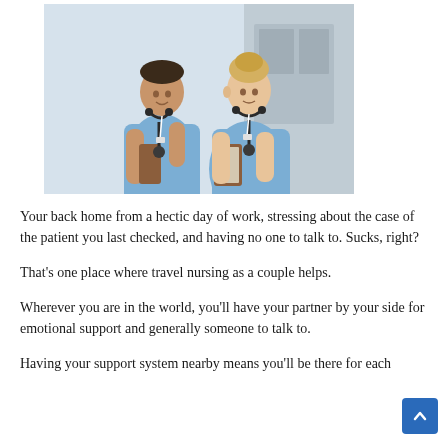[Figure (photo): Two healthcare workers in blue scrubs with stethoscopes, one holding a clipboard, appearing to discuss a patient case in a hospital setting.]
Your back home from a hectic day of work, stressing about the case of the patient you last checked, and having no one to talk to. Sucks, right?
That's one place where travel nursing as a couple helps.
Wherever you are in the world, you'll have your partner by your side for emotional support and generally someone to talk to.
Having your support system nearby means you'll be there for each